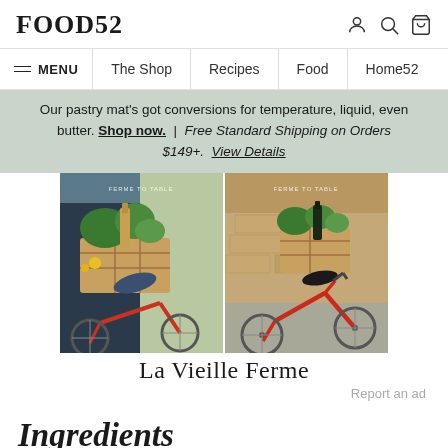FOOD52
≡ MENU | The Shop | Recipes | Food | Home52
Our pastry mat's got conversions for temperature, liquid, even butter. Shop now. | Free Standard Shipping on Orders $149+. View Details
[Figure (photo): Two side-by-side photos of red bicycles with wooden crates filled with produce and wine bottles, with text 'FERME TO TABLE' overlay, advertising La Vieille Ferme wines.]
La Vieille Ferme
Report an ad
Ingredients